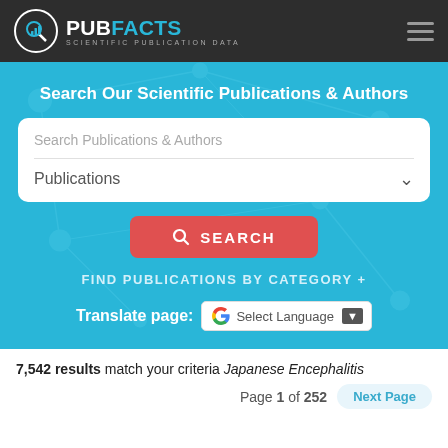[Figure (logo): PubFacts logo with circular icon and tagline 'Scientific Publication Data']
Search Our Scientific Publications & Authors
Search Publications & Authors (search input placeholder)
Publications (dropdown)
SEARCH (button)
FIND PUBLICATIONS BY CATEGORY +
Translate page: Select Language
7,542 results match your criteria Japanese Encephalitis
Page 1 of 252 Next Page